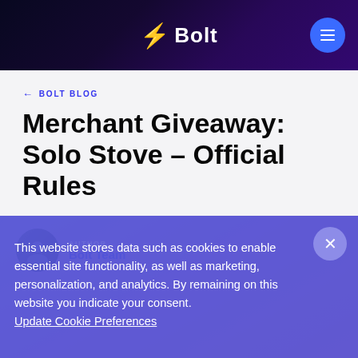Bolt
← BOLT BLOG
Merchant Giveaway: Solo Stove – Official Rules
AUTHOR
Bolt Team
This website stores data such as cookies to enable essential site functionality, as well as marketing, personalization, and analytics. By remaining on this website you indicate your consent. Update Cookie Preferences